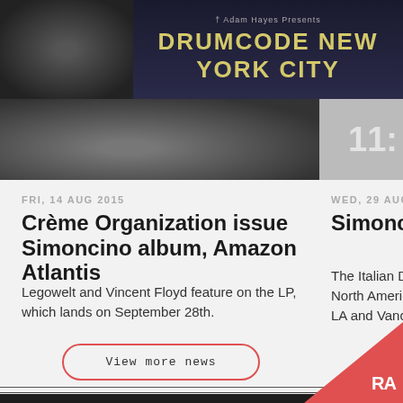[Figure (photo): Drumcode New York City event banner with dark background and decorative text]
[Figure (photo): Left image showing close-up abstract dark photo for news article]
[Figure (photo): Right partial image with number/text overlay]
FRI, 14 AUG 2015
Crème Organization issue Simoncino album, Amazon Atlantis
Legowelt and Vincent Floyd feature on the LP, which lands on September 28th.
WED, 29 AUG 201
Simoncino hit
The Italian DJ ... North American... LA and Vancou
View more news
PAST EVENTS
SAT, 9 OCT 2021